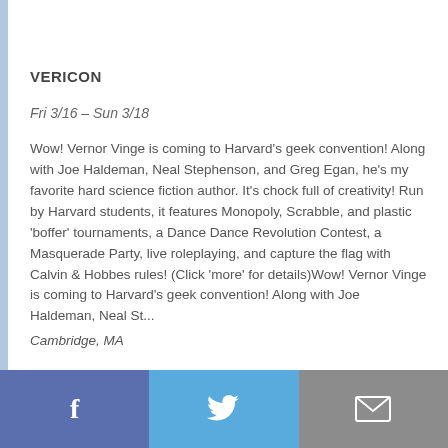VERICON
Fri 3/16 – Sun 3/18
Wow! Vernor Vinge is coming to Harvard's geek convention! Along with Joe Haldeman, Neal Stephenson, and Greg Egan, he's my favorite hard science fiction author. It's chock full of creativity! Run by Harvard students, it features Monopoly, Scrabble, and plastic 'boffer' tournaments, a Dance Dance Revolution Contest, a Masquerade Party, live roleplaying, and capture the flag with Calvin & Hobbes rules! (Click 'more' for details)Wow! Vernor Vinge is coming to Harvard's geek convention! Along with Joe Haldeman, Neal St...
Cambridge, MA
f  [twitter bird]  [envelope]